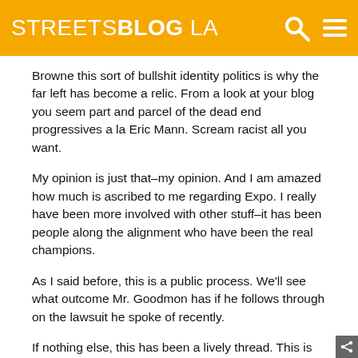STREETSBLOG LA
Browne this sort of bullshit identity politics is why the far left has become a relic. From a look at your blog you seem part and parcel of the dead end progressives a la Eric Mann. Scream racist all you want.
My opinion is just that–my opinion. And I am amazed how much is ascribed to me regarding Expo. I really have been more involved with other stuff–it has been people along the alignment who have been the real champions.
As I said before, this is a public process. We'll see what outcome Mr. Goodmon has if he follows through on the lawsuit he spoke of recently.
If nothing else, this has been a lively thread. This is my last posting on it.
30. Spokker says: